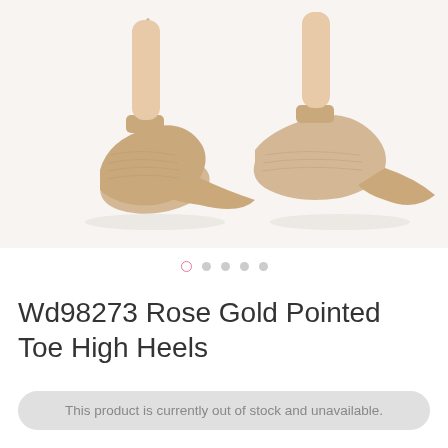[Figure (photo): Product photo of rose gold pointed toe high heel pumps with snake texture, shown from back/side angle on white background. Two shoes visible.]
Wd98273 Rose Gold Pointed Toe High Heels
This product is currently out of stock and unavailable.